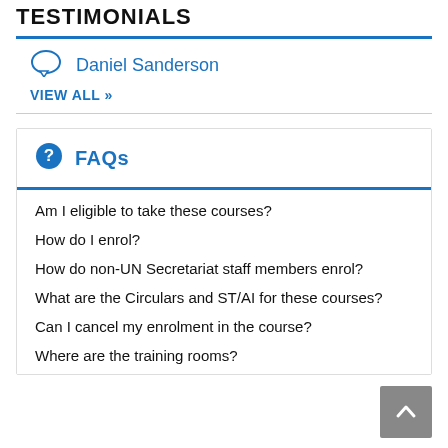TESTIMONIALS
Daniel Sanderson
VIEW ALL »
FAQs
Am I eligible to take these courses?
How do I enrol?
How do non-UN Secretariat staff members enrol?
What are the Circulars and ST/AI for these courses?
Can I cancel my enrolment in the course?
Where are the training rooms?